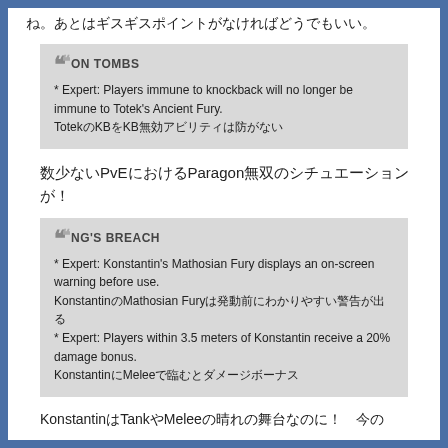ね。あとはギスギスポイントがなければどうでもいい。
IRON TOMBS
* Expert: Players immune to knockback will no longer be immune to Totek's Ancient Fury.
TotekのKBをKB無効アビリティは防がない
数少ないPvEにおけるParagon無双のシチュエーションが！
KING'S BREACH
* Expert: Konstantin's Mathosian Fury displays an on-screen warning before use.
KonstantinのMathosian Furyは発動前にわかりやすい警告が出る
* Expert: Players within 3.5 meters of Konstantin receive a 20% damage bonus.
KonstantinにMeleeで臨むとダメージボーナス
KonstantinはTankやMeleeの晴れの舞台なのに！　今の